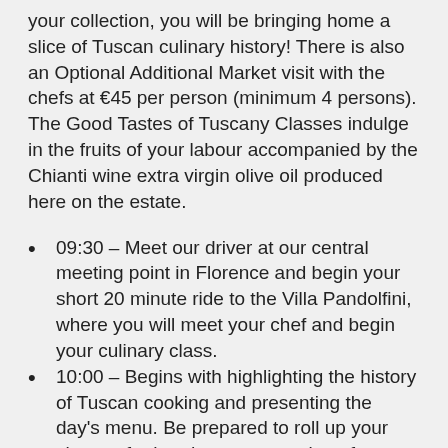your collection, you will be bringing home a slice of Tuscan culinary history! There is also an Optional Additional Market visit with the chefs at €45 per person (minimum 4 persons). The Good Tastes of Tuscany Classes indulge in the fruits of your labour accompanied by the Chianti wine extra virgin olive oil produced here on the estate.
09:30 – Meet our driver at our central meeting point in Florence and begin your short 20 minute ride to the Villa Pandolfini, where you will meet your chef and begin your culinary class.
10:00 – Begins with highlighting the history of Tuscan cooking and presenting the day's menu. Be prepared to roll up your sleeves for hands-on preparation of a glorious meal in one of our two authentic kitchens.